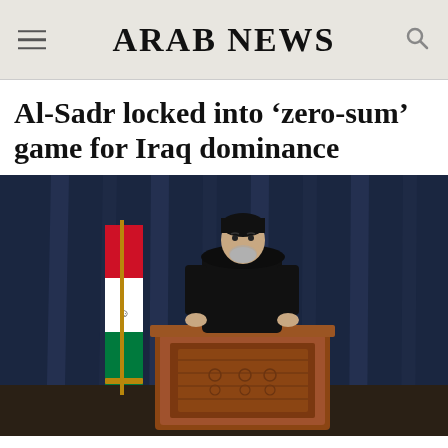ARAB NEWS
Al-Sadr locked into 'zero-sum' game for Iraq dominance
[Figure (photo): A religious figure dressed in black standing at an ornate wooden podium/lectern, speaking into microphones. An Iraqi flag is visible to the left. A dark blue curtain forms the background.]